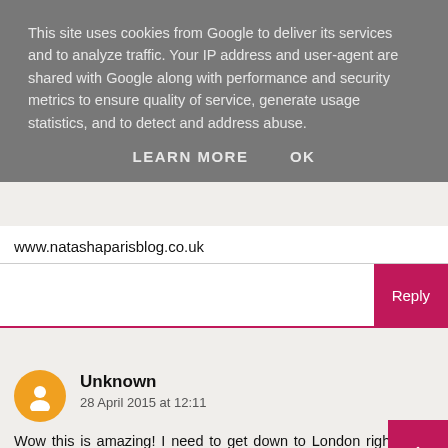This site uses cookies from Google to deliver its services and to analyze traffic. Your IP address and user-agent are shared with Google along with performance and security metrics to ensure quality of service, generate usage statistics, and to detect and address abuse.
LEARN MORE   OK
www.natashaparisblog.co.uk
Reply
Unknown
28 April 2015 at 12:11
Wow this is amazing! I need to get down to London right away haha! Look forward to see what you bought :)
Jodie